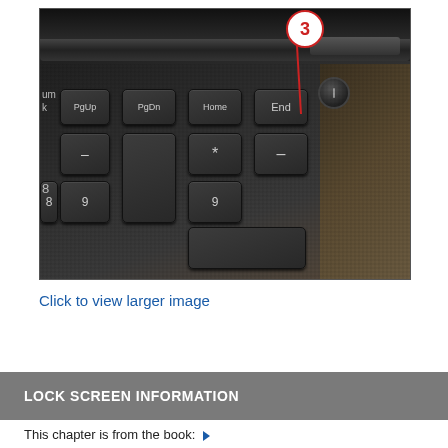[Figure (photo): Close-up photo of a laptop keyboard showing PgUp, PgDn, Home, End keys and a power button, with a red callout circle labeled '3' pointing to the power button via a red line.]
Click to view larger image
LOCK SCREEN INFORMATION
This chapter is from the book: